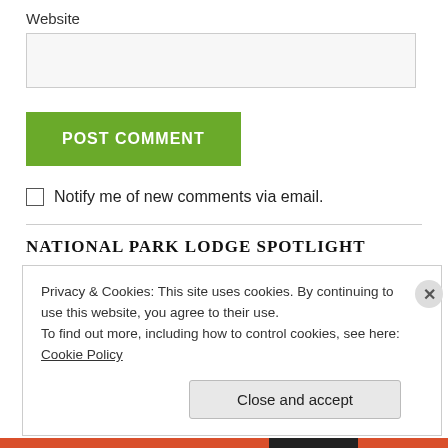Website
POST COMMENT
Notify me of new comments via email.
NATIONAL PARK LODGE SPOTLIGHT
Privacy & Cookies: This site uses cookies. By continuing to use this website, you agree to their use.
To find out more, including how to control cookies, see here: Cookie Policy
Close and accept